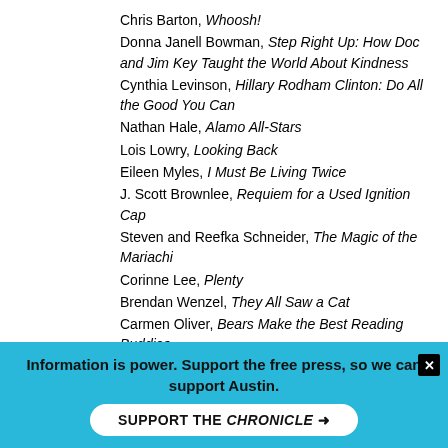Chris Barton, Whoosh!
Donna Janell Bowman, Step Right Up: How Doc and Jim Key Taught the World About Kindness
Cynthia Levinson, Hillary Rodham Clinton: Do All the Good You Can
Nathan Hale, Alamo All-Stars
Lois Lowry, Looking Back
Eileen Myles, I Must Be Living Twice
J. Scott Brownlee, Requiem for a Used Ignition Cap
Steven and Reefka Schneider, The Magic of the Mariachi
Corinne Lee, Plenty
Brendan Wenzel, They All Saw a Cat
Carmen Oliver, Bears Make the Best Reading Buddies
Janet Fox, The Charmed Children of Rookskill Castle
A.S. King, Still Life With Tornado
Antonio Ruíz-Camacho, Barefoot Dogs
Brian Yansky, Utopia, Iowa
Information is power. Support the free press, so we can support Austin.
SUPPORT THE CHRONICLE →